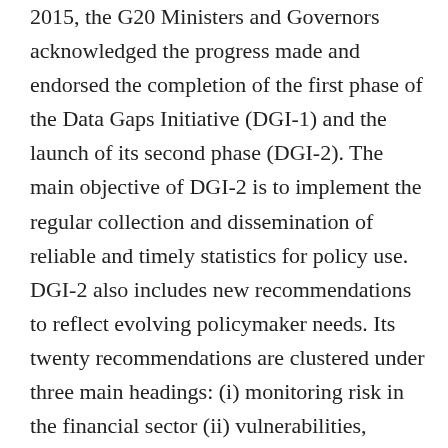2015, the G20 Ministers and Governors acknowledged the progress made and endorsed the completion of the first phase of the Data Gaps Initiative (DGI-1) and the launch of its second phase (DGI-2). The main objective of DGI-2 is to implement the regular collection and dissemination of reliable and timely statistics for policy use. DGI-2 also includes new recommendations to reflect evolving policymaker needs. Its twenty recommendations are clustered under three main headings: (i) monitoring risk in the financial sector (ii) vulnerabilities, interconnections and spillovers and (iii) data sharing and communication of official statistics. DGI-2 maintains continuity with the DGI-1 recommendations while setting more specific objectives for G20 economies to compile and disseminate minimum common datasets for these